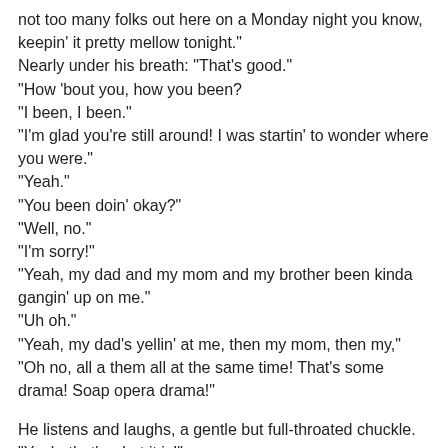not too many folks out here on a Monday night you know, keepin' it pretty mellow tonight."
Nearly under his breath: "That's good."
"How 'bout you, how you been?
"I been, I been."
"I'm glad you're still around! I was startin' to wonder where you were."
"Yeah."
"You been doin' okay?"
"Well, no."
"I'm sorry!"
"Yeah, my dad and my mom and my brother been kinda gangin' up on me."
"Uh oh."
"Yeah, my dad's yellin' at me, then my mom, then my,"
"Oh no, all a them all at the same time! That's some drama! Soap opera drama!"
He listens and laughs, a gentle but full-throated chuckle. "Yeah, that's what it is!"
"That can be a lot. What they say?"